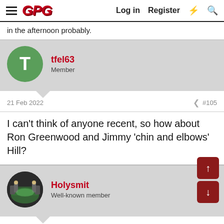GPG  Log in  Register
in the afternoon probably.
tfel63
Member
21 Feb 2022  #105
I can't think of anyone recent, so how about Ron Greenwood and Jimmy 'chin and elbows' Hill?
Holysmit
Well-known member
21 Feb 2022  #106
LostBee said:
He was f**ting hopeless